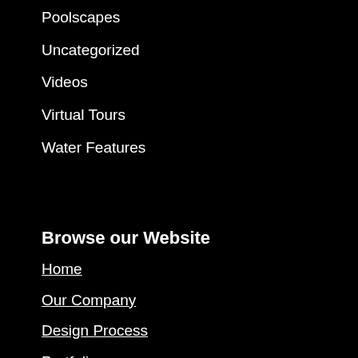Poolscapes
Uncategorized
Videos
Virtual Tours
Water Features
Browse our Website
Home
Our Company
Design Process
Portfolio